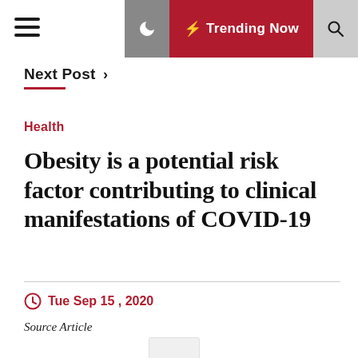≡  ☾  ⚡ Trending Now  🔍
Next Post ›
Health
Obesity is a potential risk factor contributing to clinical manifestations of COVID-19
Tue Sep 15 , 2020
Source Article